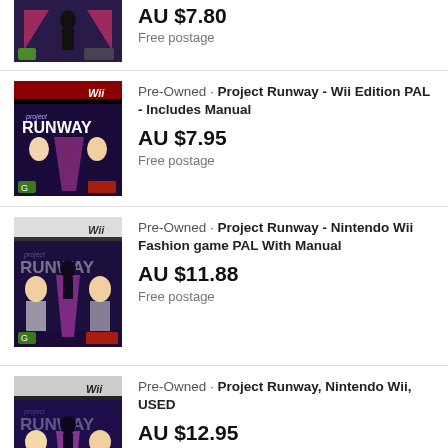[Figure (screenshot): Product listing screenshot showing Wii game covers for Project Runway]
AU $7.80
Free postage
Pre-Owned · Project Runway - Wii Edition PAL - Includes Manual
AU $7.95
Free postage
Pre-Owned · Project Runway - Nintendo Wii Fashion game PAL With Manual
AU $11.88
Free postage
Pre-Owned · Project Runway, Nintendo Wii, USED
AU $12.95
Free postage